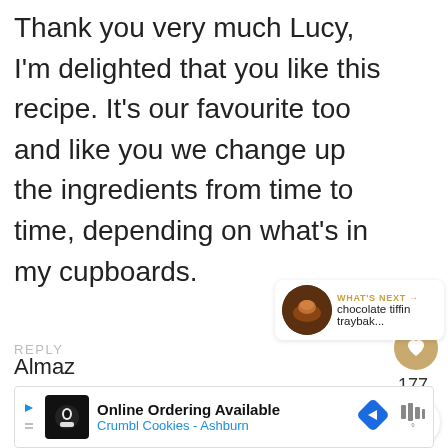Thank you very much Lucy, I'm delighted that you like this recipe. It's our favourite too and like you we change up the ingredients from time to time, depending on what's in my cupboards.
REPLY
177
WHAT'S NEXT → chocolate tiffin traybak...
Almaz
Online Ordering Available
Crumbl Cookies - Ashburn